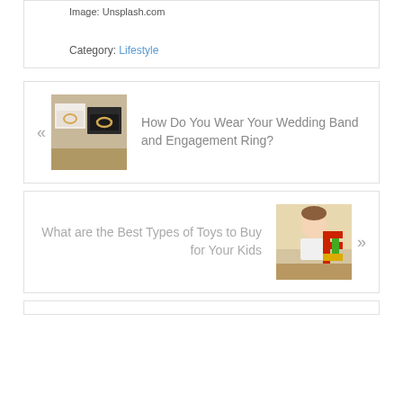Image: Unsplash.com
Category: Lifestyle
« How Do You Wear Your Wedding Band and Engagement Ring?
What are the Best Types of Toys to Buy for Your Kids »